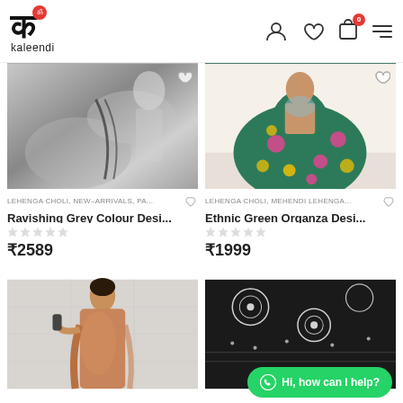[Figure (logo): Kaleendi brand logo with stylized Devanagari character and red notification badge]
[Figure (photo): Silver/grey satin lehenga choli with black embroidered dupatta, modeled by a woman]
LEHENGA CHOLI, NEW-ARRIVALS, PA...
Ravishing Grey Colour Desi...
₹2589
[Figure (photo): Ethnic green organza lehenga with floral print (pink and yellow flowers), modeled by a woman]
LEHENGA CHOLI, MEHENDI LEHENGA...
Ethnic Green Organza Desi...
₹1999
[Figure (photo): Peach/copper coloured saree modeled by a woman, partially visible at bottom of page]
[Figure (photo): Black and white embroidered fabric, partially visible at bottom right of page]